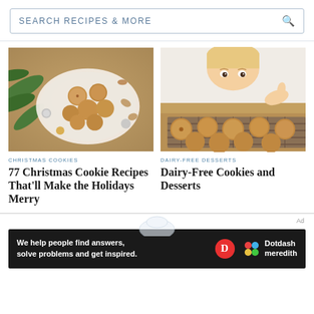SEARCH RECIPES & MORE
[Figure (photo): Bowl of Christmas cookies surrounded by pine branches and ornaments on a wooden table]
CHRISTMAS COOKIES
77 Christmas Cookie Recipes That'll Make the Holidays Merry
[Figure (photo): Child peeking over a cooling rack full of cookies]
DAIRY-FREE DESSERTS
Dairy-Free Cookies and Desserts
We help people find answers, solve problems and get inspired.
Ad